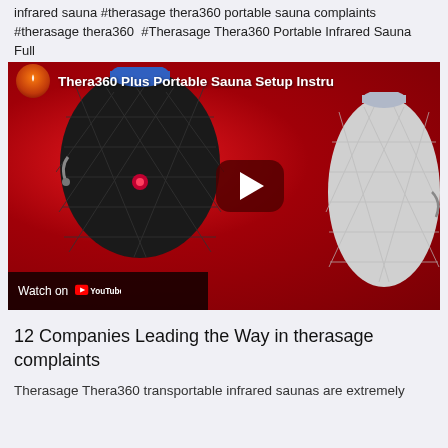infrared sauna #therasage thera360 portable sauna complaints #therasage thera360 #Therasage Thera360 Portable Infrared Sauna Full Spectrum - 1 view
[Figure (screenshot): YouTube video thumbnail showing 'Thera360 Plus Portable Sauna Setup Instru...' with two portable saunas (black and white/silver) against a red background, with a play button and 'Watch on YouTube' bar at the bottom.]
12 Companies Leading the Way in therasage complaints
Therasage Thera360 transportable infrared saunas are extremely